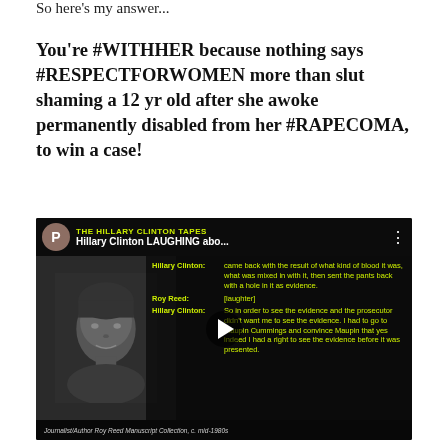So here’s my answer...
You’re #WITHHER because nothing says #RESPECTFORWOMEN more than slut shaming a 12 yr old after she awoke permanently disabled from her #RAPECOMA, to win a case!
[Figure (screenshot): YouTube-style video thumbnail showing 'THE HILLARY CLINTON TAPES' with title 'Hillary Clinton LAUGHING abo...' A transcript overlay in yellow text shows a conversation between Hillary Clinton and Roy Reed about evidence in a legal case. A play button is visible in the center. Attribution at bottom: 'Journalist/Author Roy Reed Manuscript Collection, c. mid-1980s']